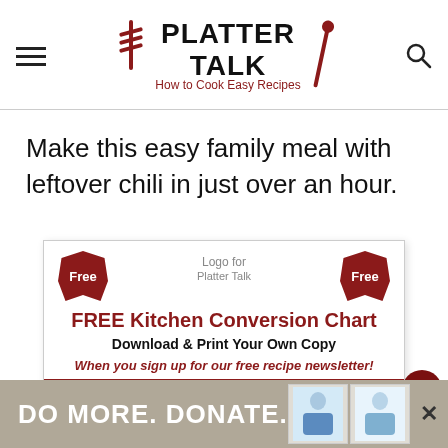PLATTER TALK - How to Cook Easy Recipes
Make this easy family meal with leftover chili in just over an hour.
[Figure (infographic): Newsletter signup box for Platter Talk with Free Kitchen Conversion Chart offer, Download & Print Your Own Copy, with first name input field on a red background.]
[Figure (infographic): Advertisement bar at bottom: DO MORE. DONATE. with images of people and close button.]